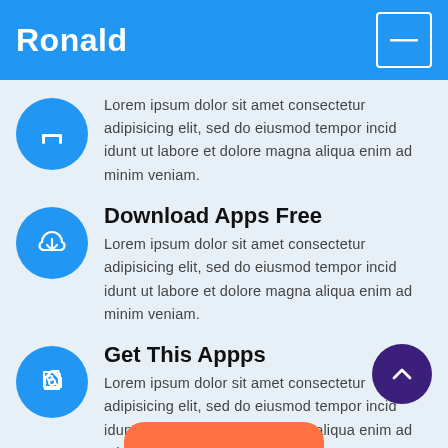Ronald
Lorem ipsum dolor sit amet consectetur adipisicing elit, sed do eiusmod tempor incid idunt ut labore et dolore magna aliqua enim ad minim veniam.
Download Apps Free
Lorem ipsum dolor sit amet consectetur adipisicing elit, sed do eiusmod tempor incid idunt ut labore et dolore magna aliqua enim ad minim veniam.
Get This Appps
Lorem ipsum dolor sit amet consectetur adipisicing elit, sed do eiusmod tempor incid idunt ut dolore magna aliqua enim ad minim veni…